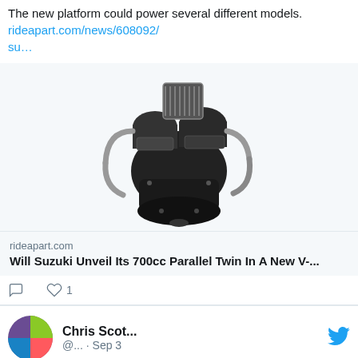The new platform could power several different models. rideapart.com/news/608092/su…
[Figure (photo): Motorcycle engine, black and silver, parallel twin engine on white background]
rideapart.com
Will Suzuki Unveil Its 700cc Parallel Twin In A New V-...
Comment icon, Like icon with count 1
Chris Scot... @... · Sep 3